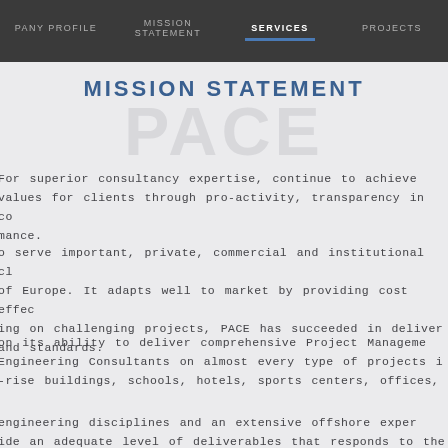COMPANY PROFILE  MISSION STATEMENT  SERVICES  PROJECTS
MISSION STATEMENT
For superior consultancy expertise, continue to achieve values for clients through pro-activity, transparency in ce mance.
o serve important, private, commercial and institutional cl of Europe. It adapts well to market by providing cost effec ing on challenging projects, PACE has succeeded in deliver and standards.
on its ability to deliver comprehensive Project Manageme Engineering Consultants on almost every type of projects i -rise buildings, schools, hotels, sports centers, offices,
engineering disciplines and an extensive offshore exper ide an adequate level of deliverables that responds to the
fecycle knowledge to integrate safety, constructability, c ease efficiency, resolve stakeholder concerns, streamline